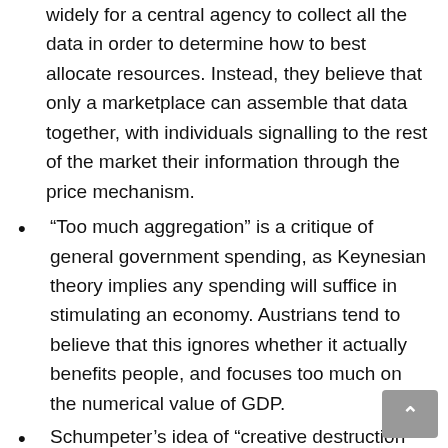widely for a central agency to collect all the data in order to determine how to best allocate resources. Instead, they believe that only a marketplace can assemble that data together, with individuals signalling to the rest of the market their information through the price mechanism.
“Too much aggregation” is a critique of general government spending, as Keynesian theory implies any spending will suffice in stimulating an economy. Austrians tend to believe that this ignores whether it actually benefits people, and focuses too much on the numerical value of GDP.
Schumpeter’s idea of “creative destruction” is a defence of letting companies fail, and against bailouts – believing that companies that cannot